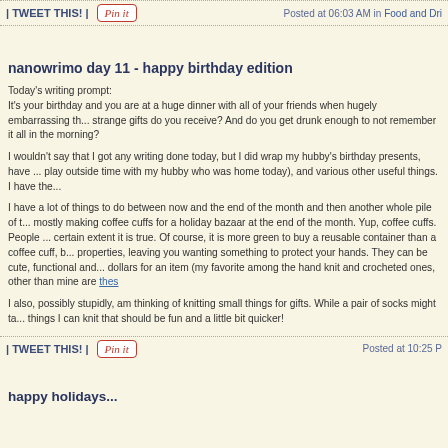Posted at 06:03 AM in Food and Dri...
| TWEET THIS! |    Pin it
nanowrimo day 11 - happy birthday edition
Today's writing prompt:
It's your birthday and you are at a huge dinner with all of your friends when hugely embarrassing th... strange gifts do you receive? And do you get drunk enough to not remember it all in the morning?
I wouldn't say that I got any writing done today, but I did wrap my hubby's birthday presents, have ... play outside time with my hubby who was home today), and various other useful things. I have the...
I have a lot of things to do between now and the end of the month and then another whole pile of t... mostly making coffee cuffs for a holiday bazaar at the end of the month. Yup, coffee cuffs. People ... certain extent it is true. Of course, it is more green to buy a reusable container than a coffee cuff, b... properties, leaving you wanting something to protect your hands. They can be cute, functional and... dollars for an item (my favorite among the hand knit and crocheted ones, other than mine are thes...
I also, possibly stupidly, am thinking of knitting small things for gifts. While a pair of socks might ta... things I can knit that should be fun and a little bit quicker!
Posted at 10:25 P...
| TWEET THIS! |    Pin it
happy holidays...